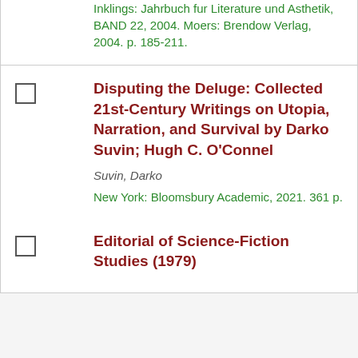Inklings: Jahrbuch fur Literature und Asthetik, BAND 22, 2004. Moers: Brendow Verlag, 2004. p. 185-211.
Disputing the Deluge: Collected 21st-Century Writings on Utopia, Narration, and Survival by Darko Suvin; Hugh C. O'Connel
Suvin, Darko
New York: Bloomsbury Academic, 2021. 361 p.
Editorial of Science-Fiction Studies (1979)